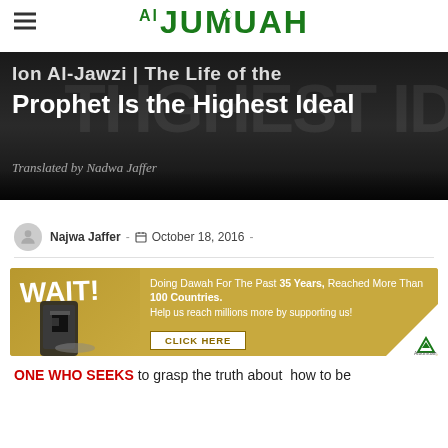Al Jumuah
[Figure (screenshot): Hero banner with dark background showing article title 'Ion Al-Jawzi | The Life of the Prophet Is the Highest Ideal', translated by Nadwa Jaffer]
Najwa Jaffer - October 18, 2016 -
[Figure (infographic): Gold advertisement banner: WAIT! Doing Dawah For The Past 35 Years, Reached More Than 100 Countries. Help us reach millions more by supporting us! Click Here button. Shows image of Kaaba on phone.]
ONE WHO SEEKS to grasp the truth about how to be